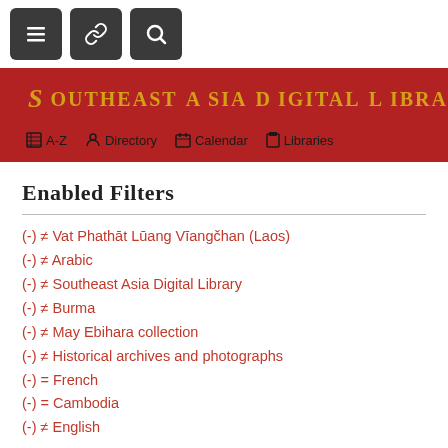[Figure (screenshot): Toolbar with three dark buttons: hamburger menu, link/chain icon, and search icon]
[Figure (screenshot): Southeast Asia Digital Library banner with dark red background, gold text logo, decorative dragon emblem, and navigation bar with A-Z, Directory, Calendar, Libraries links]
Enabled Filters
(-) ≠ Vat Phathāt Lūang Vīangčhan (Laos)
(-) ≠ Arabic
(-) ≠ Southeast Asia Digital Library
(-) ≠ Burma
(-) ≠ May Ebihara collection
(-) ≠ Historical archives and photographs
(-) = French
(-) = Cambodia
(-) ≠ English